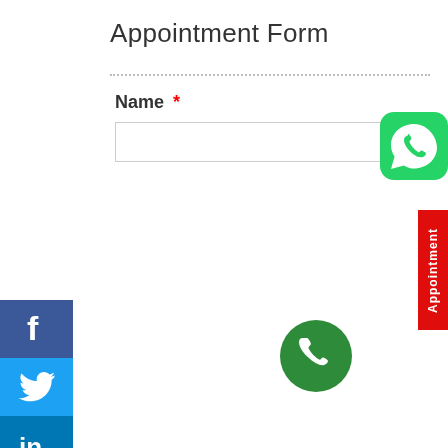Appointment Form
Name *
[Figure (other): WhatsApp icon button - green rounded square with white phone handset speech bubble logo]
[Figure (other): Red vertical Appointment tab on right side with white rotated text]
[Figure (other): Facebook social icon - blue square with white F]
[Figure (other): Twitter social icon - cyan/blue square with white bird]
[Figure (other): LinkedIn social icon - dark blue square with white 'in']
[Figure (other): Instagram social icon - gradient square with white camera outline]
[Figure (other): Pinterest social icon - red square with white P (partially visible)]
[Figure (other): Green circle phone call button in center bottom area]